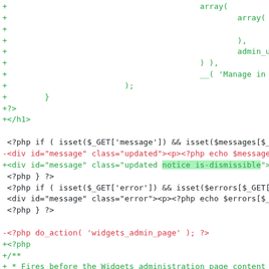[Figure (screenshot): A code diff view showing PHP code changes. Green lines with + prefix indicate additions, red lines with - prefix indicate deletions, and neutral lines show context. One line has a green highlight on 'notice is-dismissible' text. The code shows WordPress widget admin page PHP template modifications.]